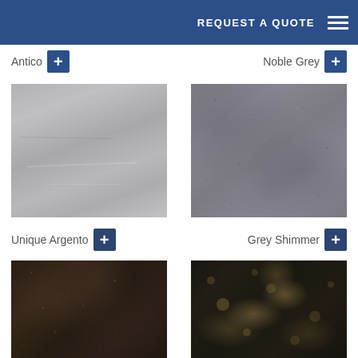REQUEST A QUOTE
Antico
Noble Grey
[Figure (photo): Light grey smooth stone surface swatch labeled Unique Argento]
[Figure (photo): Medium grey textured stone surface swatch labeled Grey Shimmer]
Unique Argento
Grey Shimmer
[Figure (photo): Dark brown/black textured stone surface swatch, partially visible]
[Figure (photo): Dark granite with golden/beige speckling swatch, partially visible]